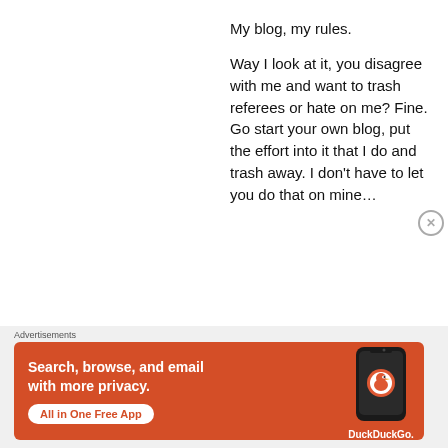My blog, my rules.
Way I look at it, you disagree with me and want to trash referees or hate on me? Fine. Go start your own blog, put the effort into it that I do and trash away. I don’t have to let you do that on mine…
Advertisements
[Figure (screenshot): DuckDuckGo advertisement banner with orange background. Headline: Search, browse, and email with more privacy. Button: All in One Free App. Shows a smartphone with DuckDuckGo logo and brand name.]